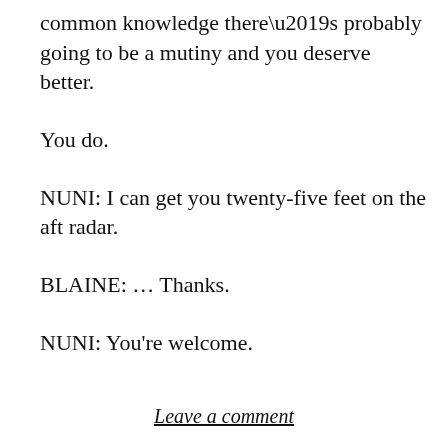common knowledge there’s probably going to be a mutiny and you deserve better.
You do.
NUNI: I can get you twenty-five feet on the aft radar.
BLAINE: … Thanks.
NUNI: You’re welcome.
Leave a comment